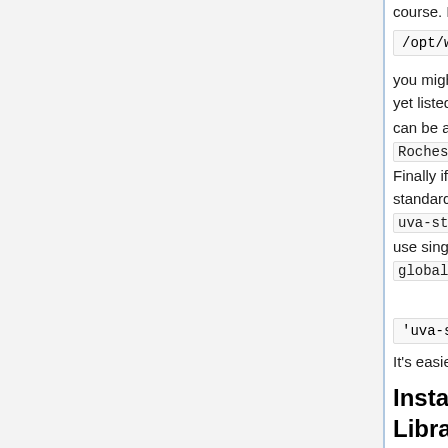course. If you look in the directory /opt/webwork/libraries/Nation you might find other libraries that are not yet listed in global.conf and these can be added in the same way as the Rochester and Union libraries. Finally if you add a library with non standard symbols in the name (e.g. uva-statLibrary ) you have to use single quotes when adding it to global.conf , e.g.
'uva-statLibrary' => "UVA-Sta
It's easier to just avoid such names.
Install and Set Up the CAPA Library
This step is optional. It installs and sets up the CAPA Library, which is a library of